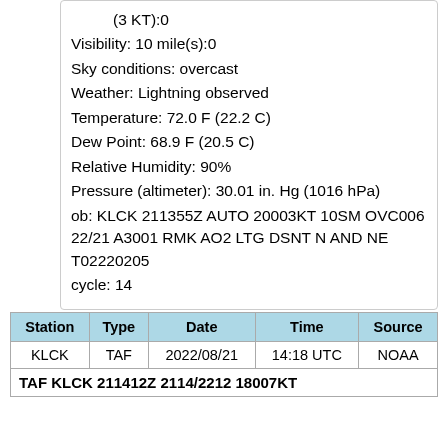(3 KT):0
Visibility: 10 mile(s):0
Sky conditions: overcast
Weather: Lightning observed
Temperature: 72.0 F (22.2 C)
Dew Point: 68.9 F (20.5 C)
Relative Humidity: 90%
Pressure (altimeter): 30.01 in. Hg (1016 hPa)
ob: KLCK 211355Z AUTO 20003KT 10SM OVC006 22/21 A3001 RMK AO2 LTG DSNT N AND NE T02220205
cycle: 14
| Station | Type | Date | Time | Source |
| --- | --- | --- | --- | --- |
| KLCK | TAF | 2022/08/21 | 14:18 UTC | NOAA |
| TAF KLCK 211412Z 2114/2212 18007KT |  |  |  |  |